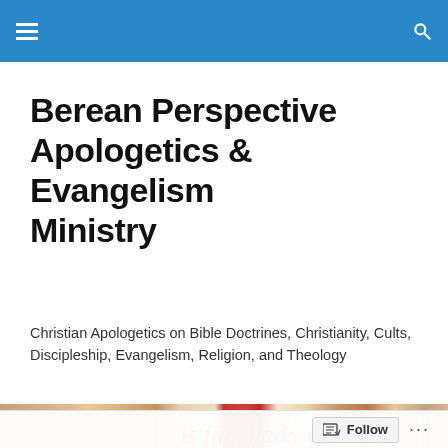Berean Perspective Apologetics & Evangelism Ministry
Berean Perspective Apologetics & Evangelism Ministry
Christian Apologetics on Bible Doctrines, Christianity, Cults, Discipleship, Evangelism, Religion, and Theology
[Figure (photo): Close-up of printed red italic text reading 'is finished:' on aged paper background]
Examining Calvinism – Reformed Theology on